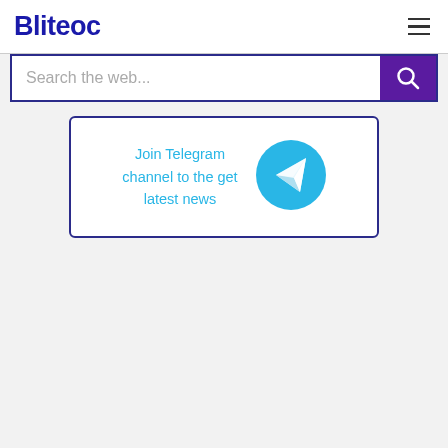Bliteoc
[Figure (screenshot): Search bar with 'Search the web...' placeholder and a purple search button with magnifier icon]
[Figure (infographic): Telegram channel join banner with text 'Join Telegram channel to the get latest news' and Telegram logo icon]